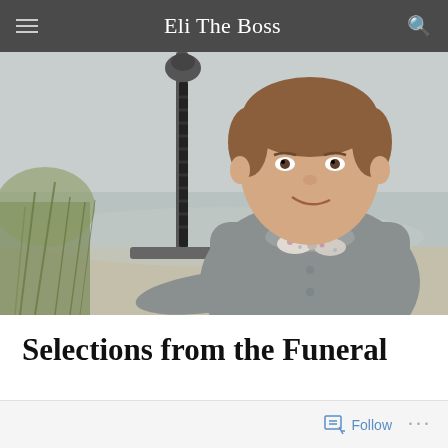Eli The Boss
[Figure (photo): A young boy with short brown hair, wearing a grey polo shirt and a floral bow tie, smiling at the camera. He is posing outdoors near a beach with misty/foggy background, holding a large medieval-style sword in front of him. Sandy grass dunes are visible to the left.]
Selections from the Funeral
Follow